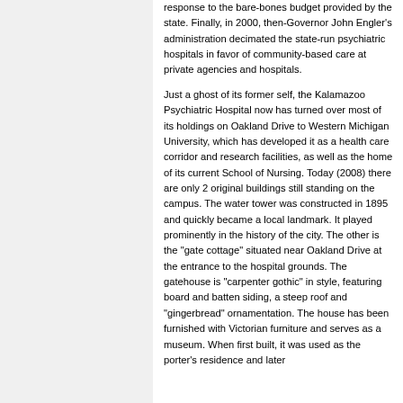response to the bare-bones budget provided by the state. Finally, in 2000, then-Governor John Engler's administration decimated the state-run psychiatric hospitals in favor of community-based care at private agencies and hospitals.
Just a ghost of its former self, the Kalamazoo Psychiatric Hospital now has turned over most of its holdings on Oakland Drive to Western Michigan University, which has developed it as a health care corridor and research facilities, as well as the home of its current School of Nursing. Today (2008) there are only 2 original buildings still standing on the campus. The water tower was constructed in 1895 and quickly became a local landmark. It played prominently in the history of the city. The other is the "gate cottage" situated near Oakland Drive at the entrance to the hospital grounds. The gatehouse is "carpenter gothic" in style, featuring board and batten siding, a steep roof and "gingerbread" ornamentation. The house has been furnished with Victorian furniture and serves as a museum. When first built, it was used as the porter's residence and later